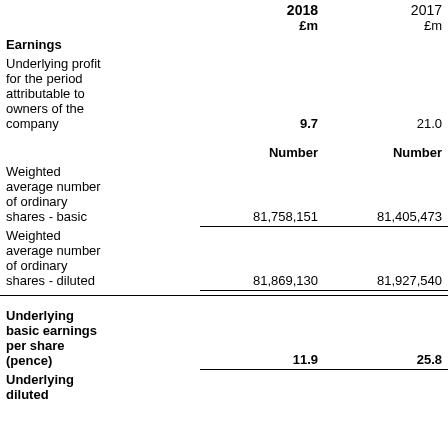|  | 2018 £m | 2017 £m |
| --- | --- | --- |
| Earnings |  |  |
| Underlying profit for the period attributable to owners of the company | 9.7 | 21.0 |
|  | Number | Number |
| Weighted average number of ordinary shares - basic | 81,758,151 | 81,405,473 |
| Weighted average number of ordinary shares - diluted | 81,869,130 | 81,927,540 |
| Underlying basic earnings per share (pence) | 11.9 | 25.8 |
| Underlying diluted |  |  |